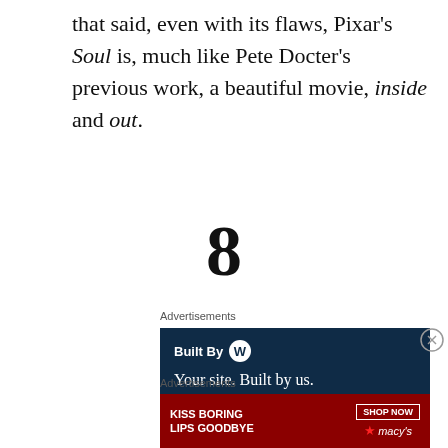that said, even with its flaws, Pixar's Soul is, much like Pete Docter's previous work, a beautiful movie, inside and out.
8
Advertisements
[Figure (other): WordPress advertisement: Built By WordPress logo, 'Your site. Built by us. Built for you.']
Advertisements
[Figure (other): Macy's advertisement: 'Kiss Boring Lips Goodbye' with Shop Now button and Macy's star logo]